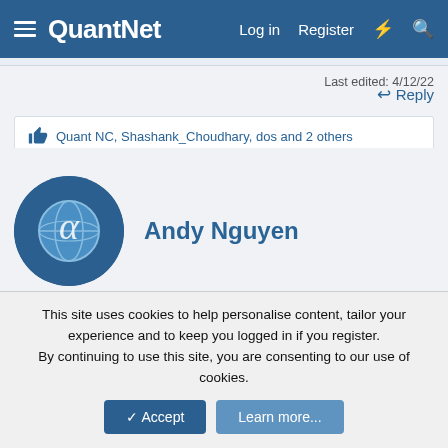QuantNet | Log in | Register
Last edited: 4/12/22
Reply
Quant NC, Shashank_Choudhary, dos and 2 others
Andy Nguyen
Daniel Duffy
C++ author, trainer
This site uses cookies to help personalise content, tailor your experience and to keep you logged in if you register.
By continuing to use this site, you are consenting to our use of cookies.